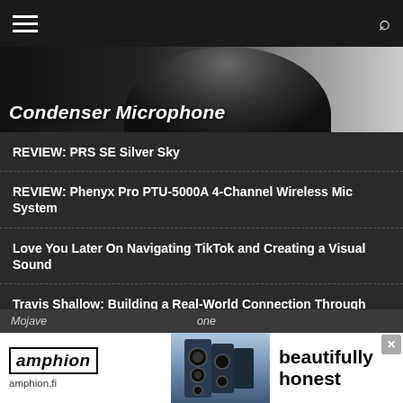Navigation bar with hamburger menu and search icon
[Figure (photo): Hero banner image showing a condenser microphone with dark background]
Condenser Microphone
REVIEW: PRS SE Silver Sky
REVIEW: Phenyx Pro PTU-5000A 4-Channel Wireless Mic System
Love You Later On Navigating TikTok and Creating a Visual Sound
Travis Shallow: Building a Real-World Connection Through Digital Barriers
COVER STORY: Mia Asano Makes Violin Cool (Again)
INTERVIEW: Tom Anello aka Tom in Boston
The Myth of Fanbase Building
How Musicians Can Maintain Nutritional Health on Tour
Mojave ... one
[Figure (advertisement): Amphion advertisement banner with logo, speaker image, and text 'beautifully honest']